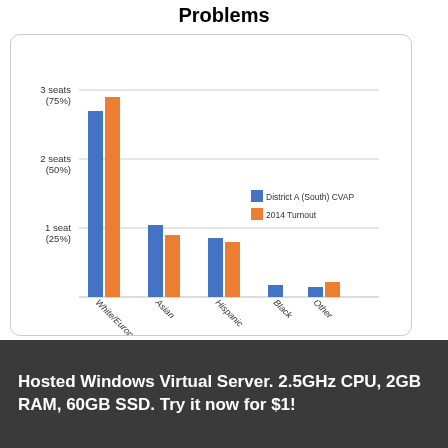Problems
[Figure (grouped-bar-chart): Problems]
Hosted Windows Virtual Server. 2.5GHz CPU, 2GB RAM, 60GB SSD. Try it now for $1!